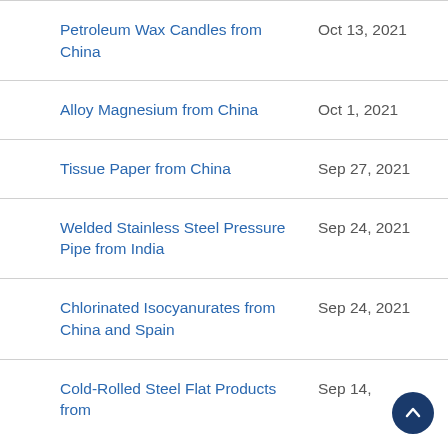Petroleum Wax Candles from China
Alloy Magnesium from China
Tissue Paper from China
Welded Stainless Steel Pressure Pipe from India
Chlorinated Isocyanurates from China and Spain
Cold-Rolled Steel Flat Products from